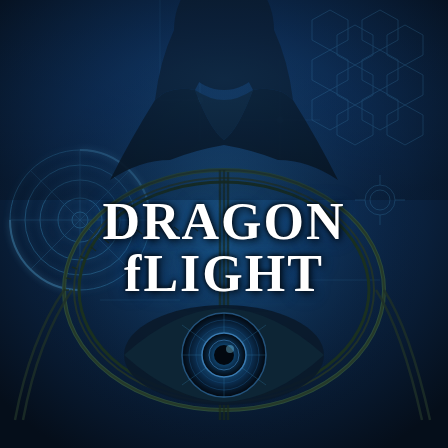[Figure (illustration): Book cover for 'Dragon Flight'. Dark sci-fi/fantasy themed cover with deep blue tones. Shows a silhouetted figure (human or dragon-like) at the top against a blue tech/circuit-board background with hexagonal patterns and circular HUD elements. In the center is a large looping roller coaster-like track structure encircling a close-up of a human eye with a pupil styled as a mechanical/sci-fi iris. The background features blue glowing circular diagrams and geometric patterns. The title 'DRAGON fLIGHT' is displayed in large white serif text in the lower-center of the image.]
DRAGON fLIGHT